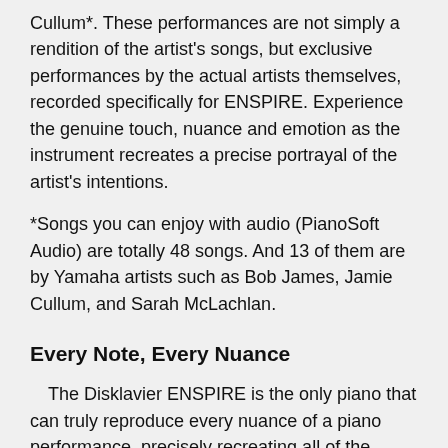Cullum*. These performances are not simply a rendition of the artist's songs, but exclusive performances by the actual artists themselves, recorded specifically for ENSPIRE. Experience the genuine touch, nuance and emotion as the instrument recreates a precise portrayal of the artist's intentions.
*Songs you can enjoy with audio (PianoSoft Audio) are totally 48 songs. And 13 of them are by Yamaha artists such as Bob James, Jamie Cullum, and Sarah McLachlan.
Every Note, Every Nuance
The Disklavier ENSPIRE is the only piano that can truly reproduce every nuance of a piano performance, precisely recreating all of the details that other player pianos cannot. For